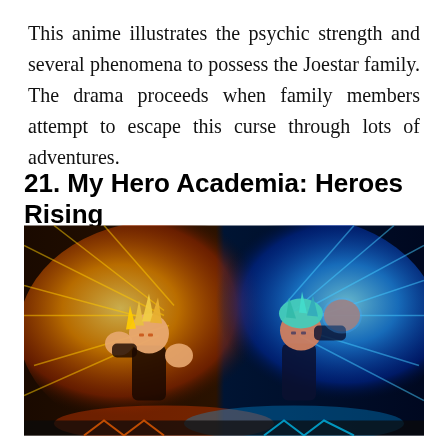This anime illustrates the psychic strength and several phenomena to possess the Joestar family. The drama proceeds when family members attempt to escape this curse through lots of adventures.
21. My Hero Academia: Heroes Rising
[Figure (illustration): Anime movie artwork from My Hero Academia: Heroes Rising showing two characters in an intense battle pose — one on the left with fiery yellow/orange aura and spiky hair, one on the right with blue energy aura and teal hair, both in fighting stances with glowing energy effects.]